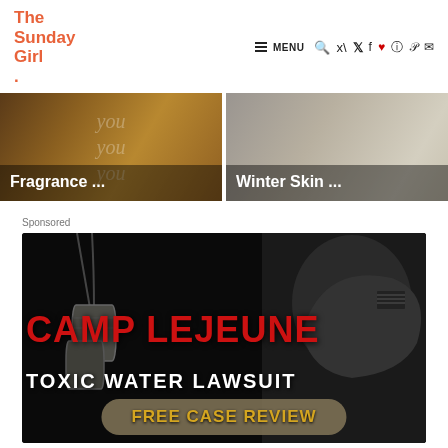The Sunday Girl. — navigation with MENU, search, twitter, facebook, heart, instagram, pinterest, mail icons
[Figure (photo): Two article thumbnail images side by side. Left: brown/gold background with overlaid text 'you you you' and title overlay 'Fragrance ...'. Right: light grey/cream background with title overlay 'Winter Skin ...']
Sponsored
[Figure (photo): Advertisement banner for Camp Lejeune Toxic Water Lawsuit. Dark background with dog tags on left and a soldier in a helmet with US flag on right. Large red text reads 'CAMP LEJEUNE', white text below reads 'TOXIC WATER LAWSUIT', and a rounded button at the bottom reads 'FREE CASE REVIEW' in gold text.]